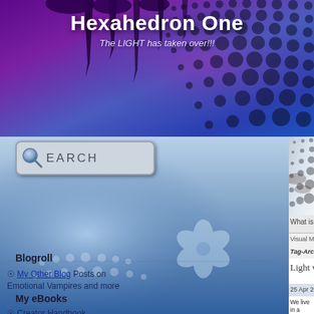Hexahedron One
The LIGHT has taken over!!!
[Figure (screenshot): Purple and blue blog header banner with paint drips and halftone dot pattern]
[Figure (screenshot): Search box with magnifying glass icon and handwritten-style SEARCH text]
Blogroll
My Other Blog Posts on Emotional Vampires and more
My eBooks
Creator Handbook
[Figure (screenshot): Inner blog header with halftone dots, gray-white gradient]
What is a Right – Spinner?   Home   Blog   Transfor...
Visual Meditation   Platonic Solids   Great Year – 25...
Tag-Archive for » What is Darkness? «
Light will Win, Even against Great...
25 Apr 2011 | By Merln
We live in a time where everything looks like it is g... 13,000 years where Darkness had 80 percent of t... 20%, does not mean it was powerless.  Just as wi... Aeons-long battle between Darkness and Light. J... Light;  Darkness is the imposition of fear, force ar...